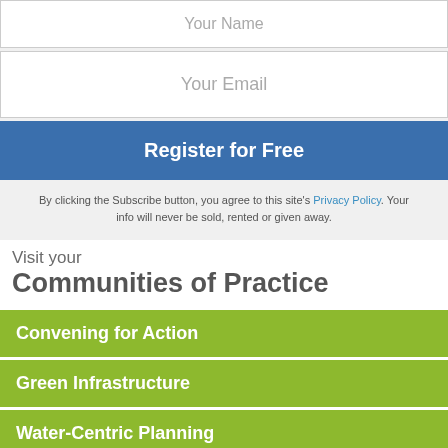Your Name
Your Email
Register for Free
By clicking the Subscribe button, you agree to this site's Privacy Policy. Your info will never be sold, rented or given away.
Visit your
Communities of Practice
Convening for Action
Green Infrastructure
Water-Centric Planning
Rainwater Management